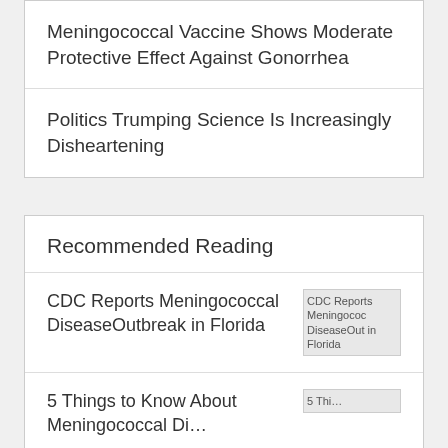Meningococcal Vaccine Shows Moderate Protective Effect Against Gonorrhea
Politics Trumping Science Is Increasingly Disheartening
Recommended Reading
CDC Reports Meningococcal DiseaseOutbreak in Florida
5 Things to Know About Meningococcal Disease